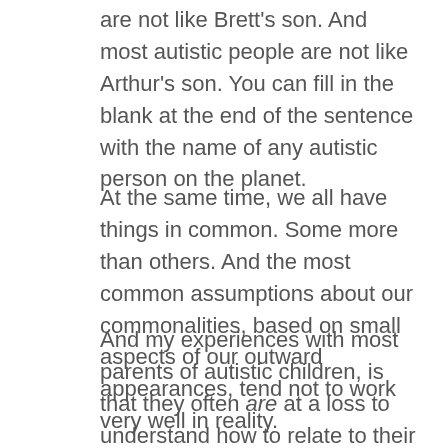are not like Brett's son. And most autistic people are not like Arthur's son. You can fill in the blank at the end of the sentence with the name of any autistic person on the planet.
At the same time, we all have things in common. Some more than others. And the most common assumptions about our commonalities, based on small aspects of our outward appearances, tend not to work very well in reality.
And my experiences with most parents of autistic children, is that they often are at a loss to understand how to relate to their children, even if they mean really well. They are eager to learn. And they are not hostile to me nor do they consider me condescending. I inevitably end up confirming some of what they already